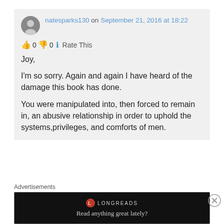natesparks130 on September 21, 2016 at 18:22
👍 0 👎 0 ℹ Rate This
Joy,
I'm so sorry. Again and again I have heard of the damage this book has done.

You were manipulated into, then forced to remain in, an abusive relationship in order to uphold the systems,privileges, and comforts of men.
Advertisements
[Figure (screenshot): Longreads advertisement banner with logo and tagline 'Read anything great lately?']